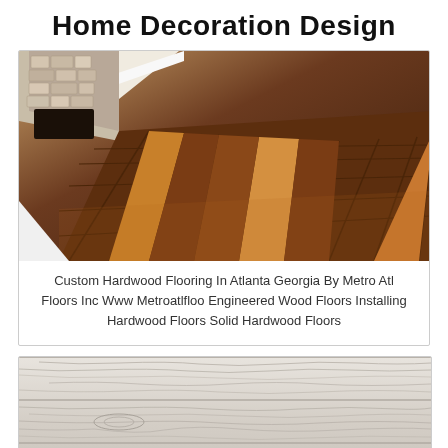Home Decoration Design
[Figure (photo): Dark hardwood flooring in a room with a stone fireplace visible in the background, showing rich brown tones with natural wood grain patterns and lighter accents]
Custom Hardwood Flooring In Atlanta Georgia By Metro Atl Floors Inc Www Metroatlfloo Engineered Wood Floors Installing Hardwood Floors Solid Hardwood Floors
[Figure (photo): Light grey/white wood grain flooring planks shown in close-up, displaying natural wood texture and grain patterns in pale tones]